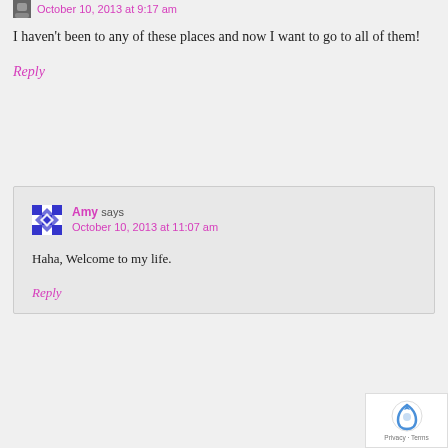October 10, 2013 at 9:17 am
I haven't been to any of these places and now I want to go to all of them!
Reply
Amy says
October 10, 2013 at 11:07 am
Haha, Welcome to my life.
Reply